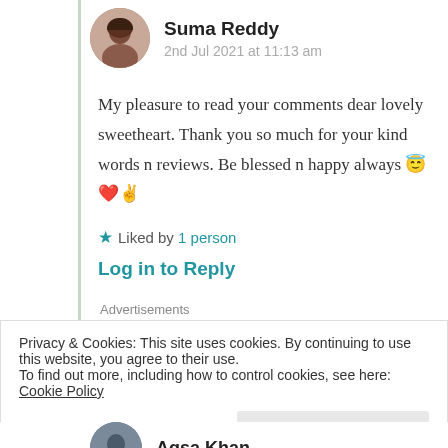[Figure (photo): Circular avatar photo of Suma Reddy, a young woman]
Suma Reddy
2nd Jul 2021 at 11:13 am
My pleasure to read your comments dear lovely sweetheart. Thank you so much for your kind words n reviews. Be blessed n happy always 😇❤️✌️
★ Liked by 1 person
Log in to Reply
Advertisements
Privacy & Cookies: This site uses cookies. By continuing to use this website, you agree to their use.
To find out more, including how to control cookies, see here: Cookie Policy
Close and accept
Aqsa Khan